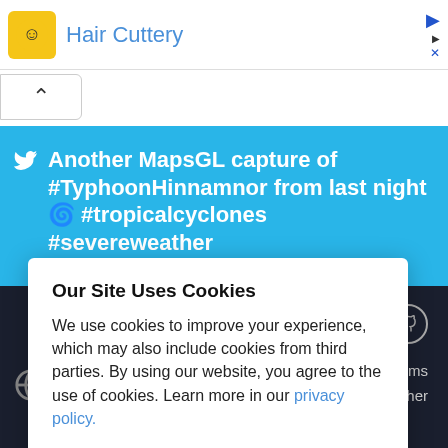[Figure (screenshot): Ad banner showing Hair Cuttery with yellow icon and blue title text, with play and close controls on right]
[Figure (screenshot): Collapse/toggle button with upward chevron]
Another MapsGL capture of #TyphoonHinnamnor from last night 🌀 #tropicalcyclones #severeweather https://t.co/F2HFamaMp8...
Our Site Uses Cookies
We use cookies to improve your experience, which may also include cookies from third parties. By using our website, you agree to the use of cookies. Learn more in our privacy policy.
ACCEPT & CLOSE
Privacy + Terms
© 2022 AerisWeather